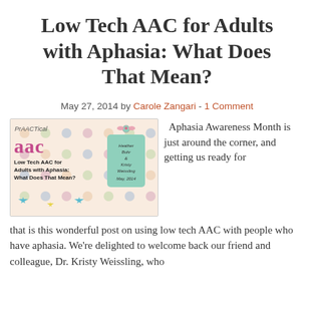Low Tech AAC for Adults with Aphasia: What Does That Mean?
May 27, 2014 by Carole Zangari - 1 Comment
[Figure (illustration): Book/presentation cover image for 'PrAACTical AAC: Low Tech AAC for Adults with Aphasia: What Does That Mean?' by Heather Buhr and Kristy Weissling, May 2014. Colorful patterned background with decorative stars and a mint-green tag.]
Aphasia Awareness Month is just around the corner, and getting us ready for
that is this wonderful post on using low tech AAC with people who have aphasia. We're delighted to welcome back our friend and colleague, Dr. Kristy Weissling, who